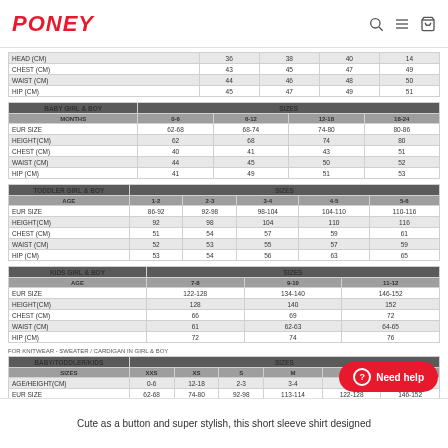PONEY
|  | 3-6 | 6-9 | 9-12 | 12-18 |
| --- | --- | --- | --- | --- |
| CHEST (CM) | 43 | 45 | 47 | 49 |
| WAIST (CM) | 44 | 46 | 48 | 50 |
| HIP (CM) | 45 | 47 | 49 | 51 |
| BABY GIRL & BOY | SIZES |  |  |  |
| --- | --- | --- | --- | --- |
| MONTHS | 0-6 | 6-12 | 12-18 | 18-24 |
| EUR SIZE | 62-68 | 68-74 | 74-80 | 80-86 |
| HEIGHT(CM) | 62 | 68 | 74 | 80 |
| CHEST (CM) | 40 | 41 | 43 | 51 |
| WAIST (CM) | 44 | 45 | 50 | 52 |
| HIP (CM) | 41 | 49 | 51 | 53 |
| TODDLER GIRL & BOY | SIZES |  |  |  |  |
| --- | --- | --- | --- | --- | --- |
| AGE | 1-2 | 2-3 | 3-4 | 4-5 | 5-6 |
| EUR SIZE | 86-92 | 92-98 | 98-104 | 104-110 | 110-116 |
| HEIGHT(CM) | 92 | 98 | 104 | 110 | 116 |
| CHEST (CM) | 51 | 54 | 57 | 59 | 61 |
| WAIST (CM) | 52 | 53 | 55 | 57 | 59 |
| HIP (CM) | 53 | 54 | 56 | 63 | 65 |
| KIDS GIRL & BOY | SIZES |  |  |
| --- | --- | --- | --- |
| AGE | 7-8 | 9-10 | 11-12 |
| EUR SIZE | 122-128 | 134-140 | 146-152 |
| HEIGHT(CM) | 128 | 140 | 152 |
| CHEST (CM) | 66 | 69 | 72 |
| WAIST (CM) | 61 | 62-63 | 64-65 |
| HIP (CM) | 72 | 74 | 76 |
FOR KNITWEAR - SWEATER / CARDIGAN IN GIRL & BOY
| BABY/TODDLER/KIDS | SIZES |  |  |  |  |  |
| --- | --- | --- | --- | --- | --- | --- |
| SIZES | XXS | XS | S | M | L | XL |
| AGE/HEIGHT(CM) | 0-6 | 12-18 | 2-3 | 3-4 | 7-8 | 11-12 |
| EUR SIZE | 62-68 | 74-80 | 92-98 | 113-114 | 122-128 | 146-152 |
| HEIGHT (CM) | 62 | 74 | 98 | 116 | 128 | 152 |
| CHEST (CM) | 40 | 49 | 54 | 61 | 66 | 72 |
| WAIST (CM) | 44 | 50 | 53 | 59 | 61 |  |
Cute as a button and super stylish, this short sleeve shirt designed